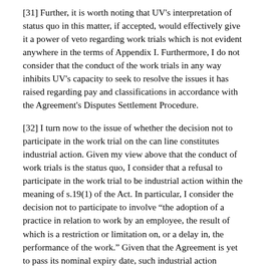[31] Further, it is worth noting that UV's interpretation of status quo in this matter, if accepted, would effectively give it a power of veto regarding work trials which is not evident anywhere in the terms of Appendix I. Furthermore, I do not consider that the conduct of the work trials in any way inhibits UV's capacity to seek to resolve the issues it has raised regarding pay and classifications in accordance with the Agreement's Disputes Settlement Procedure.
[32] I turn now to the issue of whether the decision not to participate in the work trial on the can line constitutes industrial action. Given my view above that the conduct of work trials is the status quo, I consider that a refusal to participate in the work trial to be industrial action within the meaning of s.19(1) of the Act. In particular, I consider the decision not to participate to involve “the adoption of a practice in relation to work by an employee, the result of which is a restriction or limitation on, or a delay in, the performance of the work.” Given that the Agreement is yet to pass its nominal expiry date, such industrial action constitutes unprotected industrial action. Further, I consider that the industrial action is likely to continue until such time as UV’s issues regarding pay and grades are progressed.”